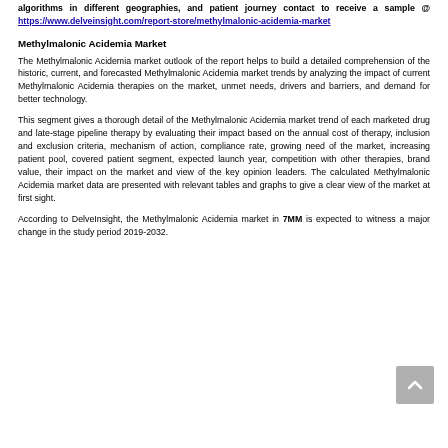algorithms in different geographies, and patient journey contact to receive a sample @ https://www.delveinsight.com/report-store/methylmalonic-acidemia-market
Methylmalonic Acidemia Market
The Methylmalonic Acidemia market outlook of the report helps to build a detailed comprehension of the historic, current, and forecasted Methylmalonic Acidemia market trends by analyzing the impact of current Methylmalonic Acidemia therapies on the market, unmet needs, drivers and barriers, and demand for better technology.
This segment gives a thorough detail of the Methylmalonic Acidemia market trend of each marketed drug and late-stage pipeline therapy by evaluating their impact based on the annual cost of therapy, inclusion and exclusion criteria, mechanism of action, compliance rate, growing need of the market, increasing patient pool, covered patient segment, expected launch year, competition with other therapies, brand value, their impact on the market and view of the key opinion leaders. The calculated Methylmalonic Acidemia market data are presented with relevant tables and graphs to give a clear view of the market at first sight.
According to DelveInsight, the Methylmalonic Acidemia market in 7MM is expected to witness a major change in the study period 2019-2032.